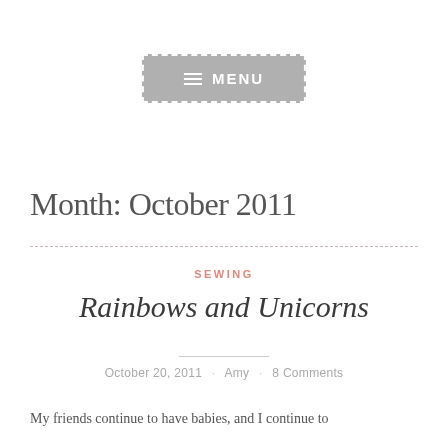≡ MENU
Month: October 2011
SEWING
Rainbows and Unicorns
October 20, 2011 · Amy · 8 Comments
My friends continue to have babies, and I continue to